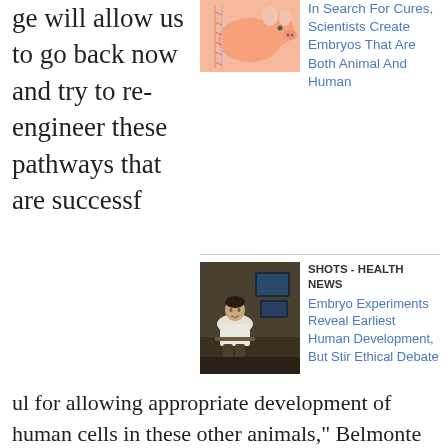ge will allow us to go back now and try to re-engineer these pathways that are successf
[Figure (photo): Thumbnail image showing animal/human embryo illustration with orange and pink colors]
In Search For Cures, Scientists Create Embryos That Are Both Animal And Human
[Figure (photo): Photo of a scientist sitting in a lab in front of computer screens]
SHOTS - HEALTH NEWS
Embryo Experiments Reveal Earliest Human Development, But Stir Ethical Debate
ul for allowing appropriate development of human cells in these other animals," Belmonte tells NPR. "We are very, very excited."